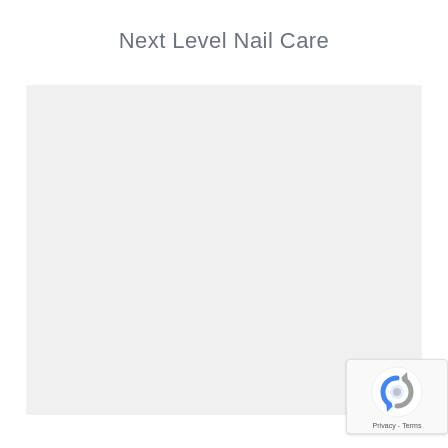Next Level Nail Care
[Figure (other): Large light gray placeholder/image area]
[Figure (other): reCAPTCHA badge with logo and Privacy - Terms text]